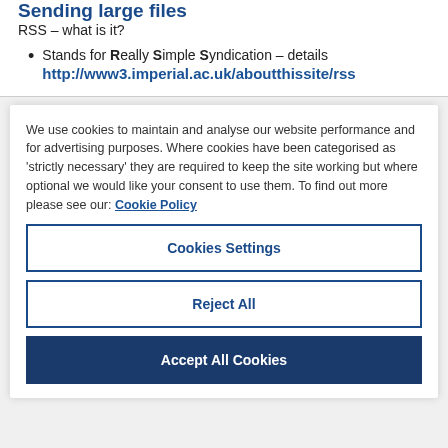Sending large files
RSS – what is it?
Stands for Really Simple Syndication – details http://www3.imperial.ac.uk/aboutthissite/rss
We use cookies to maintain and analyse our website performance and for advertising purposes. Where cookies have been categorised as 'strictly necessary' they are required to keep the site working but where optional we would like your consent to use them. To find out more please see our: Cookie Policy
Cookies Settings
Reject All
Accept All Cookies